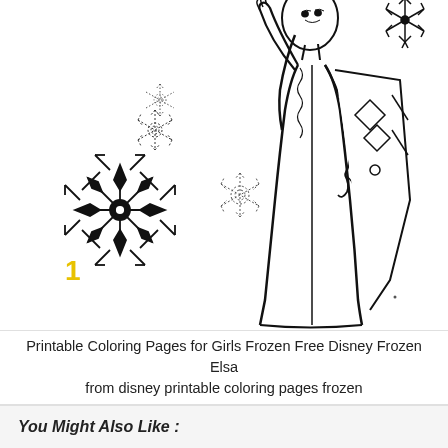[Figure (illustration): Black and white coloring page illustration of Disney Frozen character Elsa in a long dress, with arm raised, surrounded by decorative snowflake designs. A large starburst snowflake is on the left, two dotted snowflakes are visible, and a larger ornate snowflake appears in the upper right. A yellow number '1' appears in the lower left area of the illustration.]
Printable Coloring Pages for Girls Frozen Free Disney Frozen Elsa from disney printable coloring pages frozen
You Might Also Like :